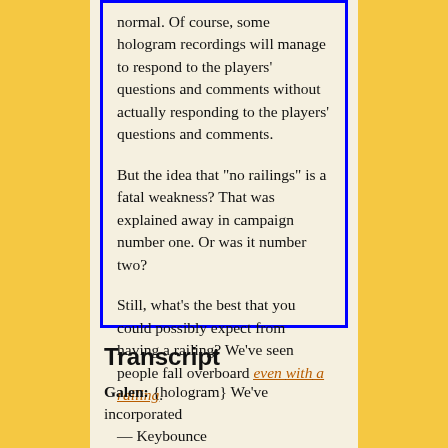normal. Of course, some hologram recordings will manage to respond to the players' questions and comments without actually responding to the players' questions and comments.

But the idea that "no railings" is a fatal weakness? That was explained away in campaign number one. Or was it number two?

Still, what's the best that you could possibly expect from having a railing? We've seen people fall overboard even with a railing.

— Keybounce
Transcript
Galen: {hologram} We've incorporated